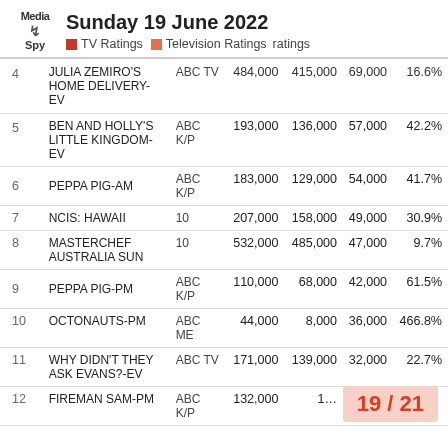Sunday 19 June 2022 | TV Ratings | Television Ratings | ratings
| # | Show | Network | Total | Metro | Regional | % |
| --- | --- | --- | --- | --- | --- | --- |
| 4 | JULIA ZEMIRO'S HOME DELIVERY-EV | ABC TV | 484,000 | 415,000 | 69,000 | 16.6% |
| 5 | BEN AND HOLLY'S LITTLE KINGDOM-EV | ABC K/P | 193,000 | 136,000 | 57,000 | 42.2% |
| 6 | PEPPA PIG-AM | ABC K/P | 183,000 | 129,000 | 54,000 | 41.7% |
| 7 | NCIS: HAWAII | 10 | 207,000 | 158,000 | 49,000 | 30.9% |
| 8 | MASTERCHEF AUSTRALIA SUN | 10 | 532,000 | 485,000 | 47,000 | 9.7% |
| 9 | PEPPA PIG-PM | ABC K/P | 110,000 | 68,000 | 42,000 | 61.5% |
| 10 | OCTONAUTS-PM | ABC ME | 44,000 | 8,000 | 36,000 | 466.8% |
| 11 | WHY DIDN'T THEY ASK EVANS?-EV | ABC TV | 171,000 | 139,000 | 32,000 | 22.7% |
| 12 | FIREMAN SAM-PM | ABC K/P | 132,000 | 1… |  |  |